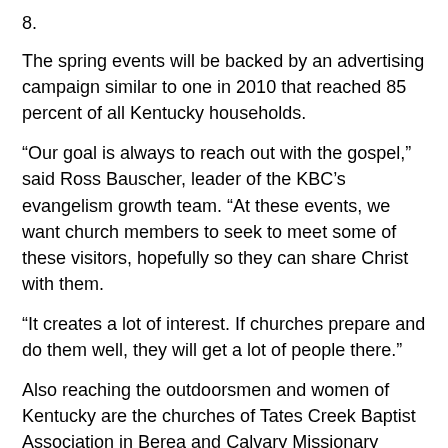8.
The spring events will be backed by an advertising campaign similar to one in 2010 that reached 85 percent of all Kentucky households.
“Our goal is always to reach out with the gospel,” said Ross Bauscher, leader of the KBC’s evangelism growth team. “At these events, we want church members to seek to meet some of these visitors, hopefully so they can share Christ with them.
“It creates a lot of interest. If churches prepare and do them well, they will get a lot of people there.”
Also reaching the outdoorsmen and women of Kentucky are the churches of Tates Creek Baptist Association in Berea and Calvary Missionary Baptist Church in Corbin.
Tates Creek Baptist Association hosted a Wild Game Dinner in January at Kirksville Baptist Church in Richmond. It attracted more than 300 men and boys and resulted in 26 first-time professions of faith in Christ. The event featured an address by Paige Patterson,